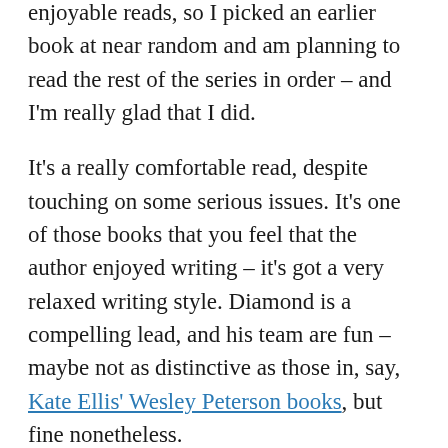enjoyable reads, so I picked an earlier book at near random and am planning to read the rest of the series in order – and I'm really glad that I did.
It's a really comfortable read, despite touching on some serious issues. It's one of those books that you feel that the author enjoyed writing – it's got a very relaxed writing style. Diamond is a compelling lead, and his team are fun – maybe not as distinctive as those in, say, Kate Ellis' Wesley Peterson books, but fine nonetheless.
Plotwise, everything is fairly clued. In one